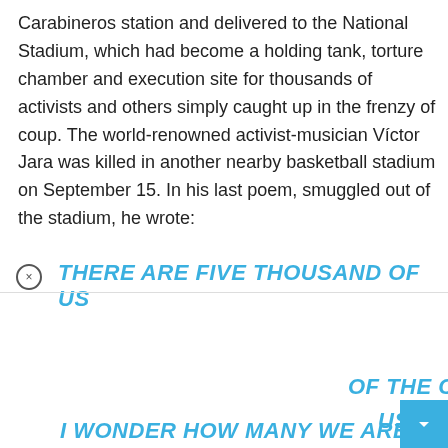Carabineros station and delivered to the National Stadium, which had become a holding tank, torture chamber and execution site for thousands of activists and others simply caught up in the frenzy of coup. The world-renowned activist-musician Víctor Jara was killed in another nearby basketball stadium on September 15. In his last poem, smuggled out of the stadium, he wrote:
[Figure (other): Advertisement overlay showing Volvo XC40 Recharge Pure Electric car ad with black panels on left and right sides, color selector dots, and a white car image in center panel]
THERE ARE FIVE THOUSAND OF US
OF THE CITY.
USAND.
I WONDER HOW MANY WE ARE IN